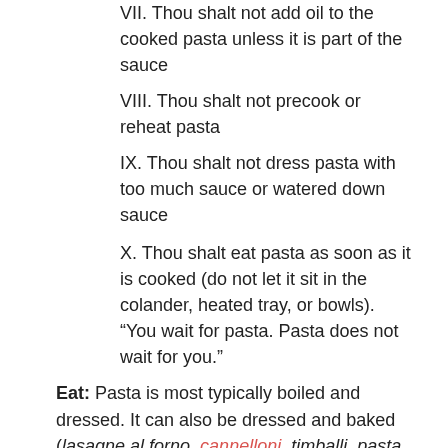VII. Thou shalt not add oil to the cooked pasta unless it is part of the sauce
VIII. Thou shalt not precook or reheat pasta
IX. Thou shalt not dress pasta with too much sauce or watered down sauce
X. Thou shalt eat pasta as soon as it is cooked (do not let it sit in the colander, heated tray, or bowls). “You wait for pasta. Pasta does not wait for you.”
Eat: Pasta is most typically boiled and dressed. It can also be dressed and baked (lasagne al forno, cannelloni, timballi, pasta infornata, pasticcio di ...